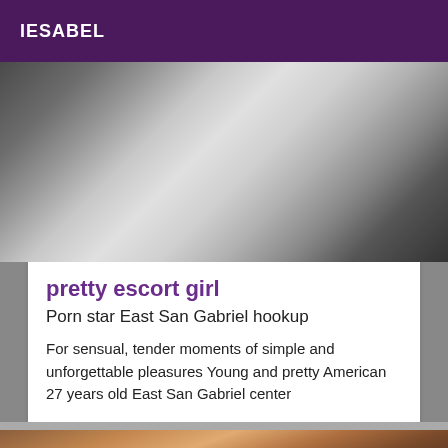IESABEL
[Figure (photo): Grayscale photo of a woman in a white coat holding a stethoscope, with jewelry visible]
pretty escort girl
Porn star East San Gabriel hookup
For sensual, tender moments of simple and unforgettable pleasures Young and pretty American 27 years old East San Gabriel center
[Figure (photo): Color close-up photo with warm brown and orange tones, partially visible at bottom of page]